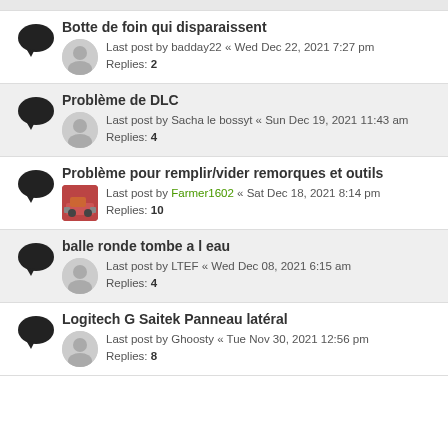Botte de foin qui disparaissent
Last post by badday22 « Wed Dec 22, 2021 7:27 pm
Replies: 2
Problème de DLC
Last post by Sacha le bossyt « Sun Dec 19, 2021 11:43 am
Replies: 4
Problème pour remplir/vider remorques et outils
Last post by Farmer1602 « Sat Dec 18, 2021 8:14 pm
Replies: 10
balle ronde tombe a l eau
Last post by LTEF « Wed Dec 08, 2021 6:15 am
Replies: 4
Logitech G Saitek Panneau latéral
Last post by Ghoosty « Tue Nov 30, 2021 12:56 pm
Replies: 8